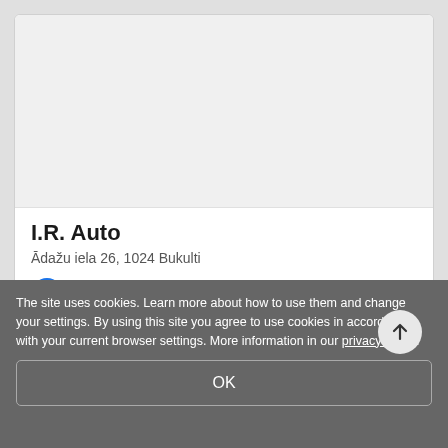[Figure (screenshot): Gray map/image placeholder area inside a white business listing card]
I.R. Auto
Ādažu iela 26, 1024 Bukulti
+371 22 *** *** ***  Show phone
BOOK A VISIT
The site uses cookies. Learn more about how to use them and change your settings. By using this site you agree to use cookies in accordance with your current browser settings. More information in our privacy policy.
OK